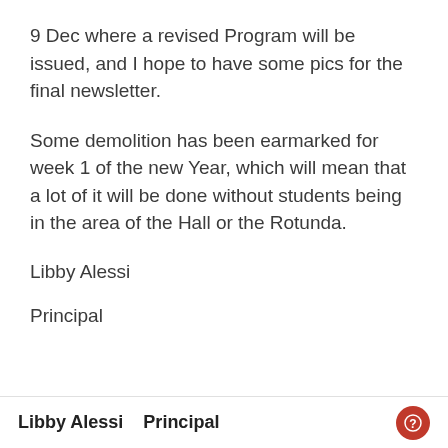9 Dec where a revised Program will be issued, and I hope to have some pics for the final newsletter.
Some demolition has been earmarked for week 1 of the new Year, which will mean that a lot of it will be done without students being in the area of the Hall or the Rotunda.
Libby Alessi
Principal
Libby Alessi   Principal